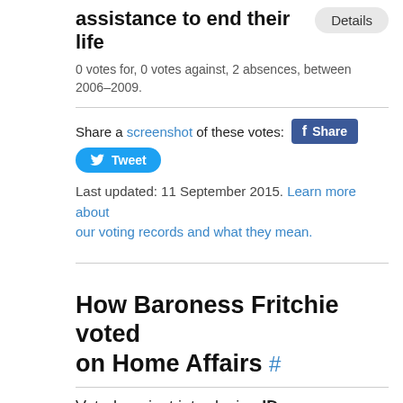assistance to end their life
0 votes for, 0 votes against, 2 absences, between 2006–2009.
[Figure (screenshot): Details button, top right]
Share a screenshot of these votes:
[Figure (screenshot): Facebook Share button]
[Figure (screenshot): Tweet button]
Last updated: 11 September 2015. Learn more about our voting records and what they mean.
How Baroness Fritchie voted on Home Affairs #
Voted against introducing ID cards
[Figure (screenshot): Show votes button]
0 votes for, 1 vote against, 11 absences, between